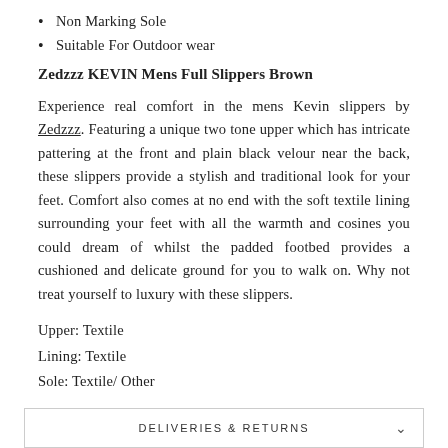Non Marking Sole
Suitable For Outdoor wear
Zedzzz KEVIN Mens Full Slippers Brown
Experience real comfort in the mens Kevin slippers by Zedzzz. Featuring a unique two tone upper which has intricate pattering at the front and plain black velour near the back, these slippers provide a stylish and traditional look for your feet. Comfort also comes at no end with the soft textile lining surrounding your feet with all the warmth and cosines you could dream of whilst the padded footbed provides a cushioned and delicate ground for you to walk on. Why not treat yourself to luxury with these slippers.
Upper: Textile
Lining: Textile
Sole: Textile/ Other
DELIVERIES & RETURNS